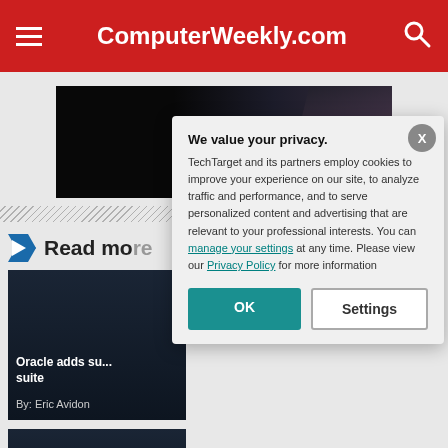ComputerWeekly.com
[Figure (photo): Video thumbnail showing a woman in dark clothing against a dark background with city lights]
Read mo...
[Figure (photo): Article card: Oracle adds su... suite, By: Eric Avidon]
[Figure (photo): Article card: Oracle Q1 2021... quarter]
We value your privacy. TechTarget and its partners employ cookies to improve your experience on our site, to analyze traffic and performance, and to serve personalized content and advertising that are relevant to your professional interests. You can manage your settings at any time. Please view our Privacy Policy for more information